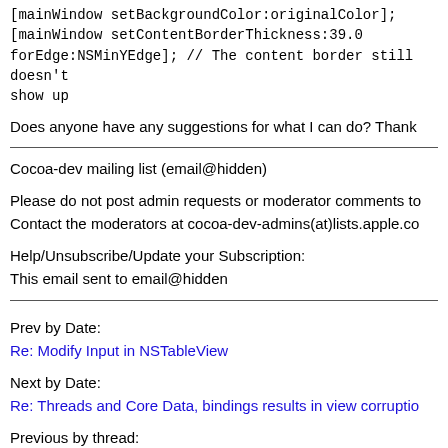[mainWindow setBackgroundColor:originalColor];
[mainWindow setContentBorderThickness:39.0 forEdge:NSMinYEdge]; // The content border still doesn't show up
Does anyone have any suggestions for what I can do? Thank
Cocoa-dev mailing list (email@hidden)
Please do not post admin requests or moderator comments to
Contact the moderators at cocoa-dev-admins(at)lists.apple.co
Help/Unsubscribe/Update your Subscription:
This email sent to email@hidden
Prev by Date:
Re: Modify Input in NSTableView
Next by Date:
Re: Threads and Core Data, bindings results in view corruptio
Previous by thread: